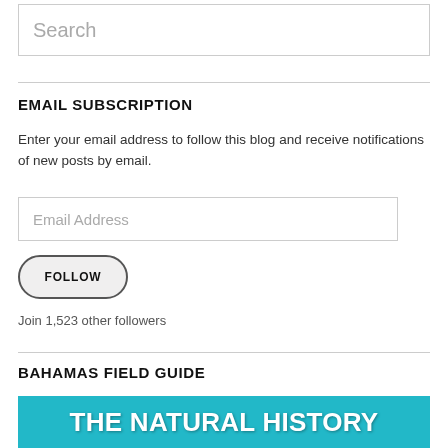Search
EMAIL SUBSCRIPTION
Enter your email address to follow this blog and receive notifications of new posts by email.
Email Address
FOLLOW
Join 1,523 other followers
BAHAMAS FIELD GUIDE
[Figure (illustration): Teal/turquoise banner with bold white text reading 'THE NATURAL HISTORY']